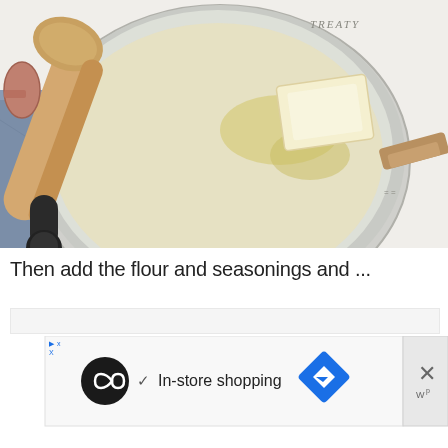[Figure (photo): Overhead view of a stainless steel saucepan with melting butter and a wooden spoon, placed on a blue denim cloth. Copper measuring spoons visible on the left, pan handle with wood and gold detail on the right. 'Treaty' branding visible on the pan lid/rim.]
Then add the flour and seasonings and ...
[Figure (other): Advertisement banner with a loop/infinity icon in a black circle, a checkmark and 'In-store shopping' text, a blue diamond navigation arrow icon, and a close (X) button with 'w' superscript on the right.]